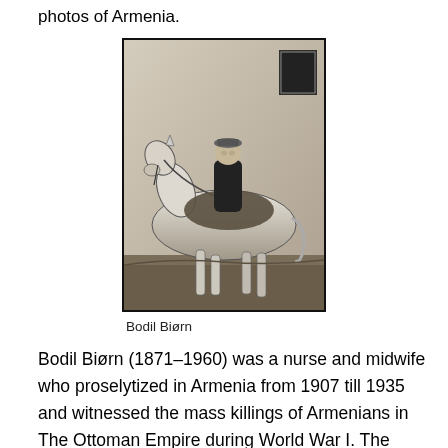photos of Armenia.
[Figure (photo): Black and white historical photograph of Bodil Biørn, a woman dressed in dark clothing and a cap, sitting sidesaddle on a white horse, posed against a light-colored wall with a window visible in the background.]
Bodil Biørn
Bodil Biørn (1871–1960) was a nurse and midwife who proselytized in Armenia from 1907 till 1935 and witnessed the mass killings of Armenians in The Ottoman Empire during World War I. The photos of Biørn are valuable and